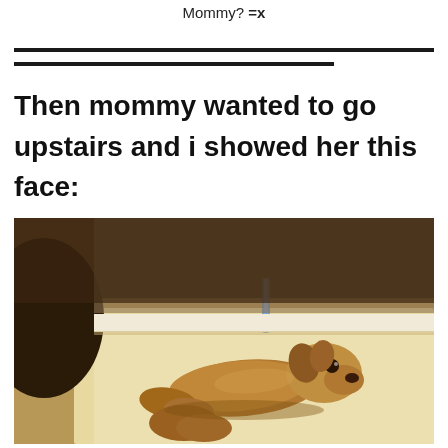Mommy? =x
Then mommy wanted to go upstairs and i showed her this face:
[Figure (photo): A small fluffy golden/brown puppy lying flat on a stair step, looking up toward the camera with a pleading face. The staircase is white/marble and the background is dimly lit.]